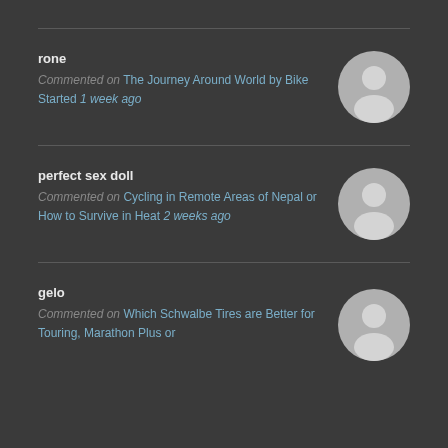rone — Commented on The Journey Around World by Bike Started 1 week ago
perfect sex doll — Commented on Cycling in Remote Areas of Nepal or How to Survive in Heat 2 weeks ago
gelo — Commented on Which Schwalbe Tires are Better for Touring, Marathon Plus or